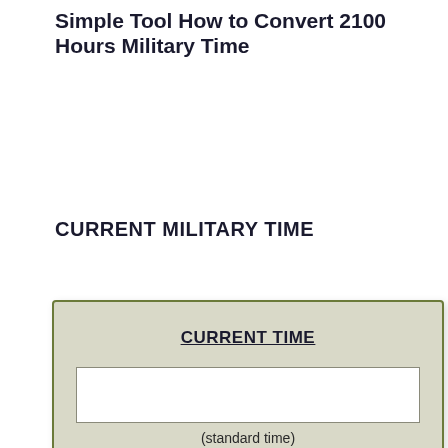Simple Tool How to Convert 2100 Hours Military Time
CURRENT MILITARY TIME
[Figure (infographic): A widget box with beige/olive background showing 'CURRENT TIME' as underlined bold heading, a white rectangular input field below it, and '(standard time)' label underneath the input field.]